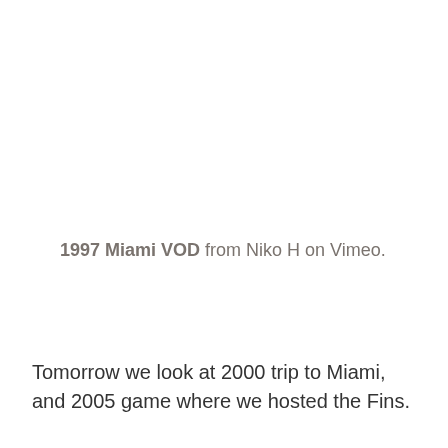1997 Miami VOD from Niko H on Vimeo.
Tomorrow we look at 2000 trip to Miami, and 2005 game where we hosted the Fins.